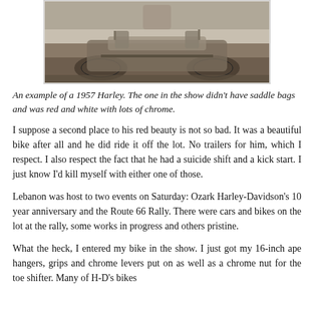[Figure (photo): Black and white photograph of a 1957 Harley-Davidson motorcycle, shown from the side with saddle bags and chrome details visible.]
An example of a 1957 Harley. The one in the show didn't have saddle bags and was red and white with lots of chrome.
I suppose a second place to his red beauty is not so bad. It was a beautiful bike after all and he did ride it off the lot. No trailers for him, which I respect. I also respect the fact that he had a suicide shift and a kick start. I just know I'd kill myself with either one of those.
Lebanon was host to two events on Saturday: Ozark Harley-Davidson's 10 year anniversary and the Route 66 Rally. There were cars and bikes on the lot at the rally, some works in progress and others pristine.
What the heck, I entered my bike in the show. I just got my 16-inch ape hangers, grips and chrome levers put on as well as a chrome nut for the toe shifter. Many of H-D's bikes